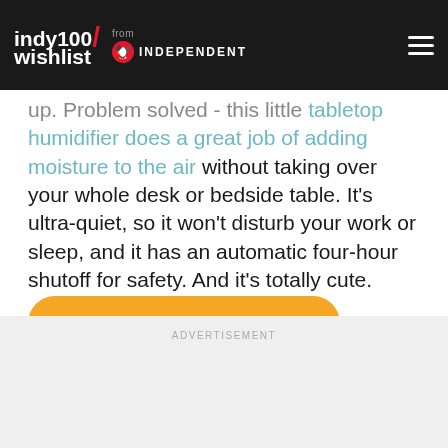indy100/wishlist from INDEPENDENT
up. Problem solved - this little tabletop humidifier does a great job of adding moisture to the air without taking over your whole desk or bedside table. It's ultra-quiet, so it won't disturb your work or sleep, and it has an automatic four-hour shutoff for safety. And it's totally cute.
SEE IT ON AMAZON
ADVERTISEMENT